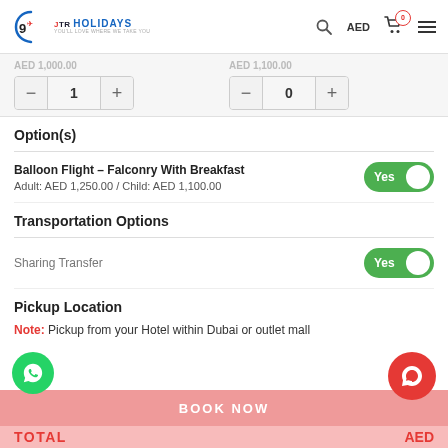JTR HOLIDAYS - You'll love where we take you
AED 1,000.00 / AED 1,100.00
Quantity stepper: 1 and 0
Option(s)
Balloon Flight – Falconry With Breakfast | Adult: AED 1,250.00 / Child: AED 1,100.00 | Toggle: Yes
Transportation Options
Sharing Transfer | Toggle: Yes
Pickup Location
Note: Pickup from your Hotel within Dubai or outlet mall
BOOK NOW
TOTAL ... AED